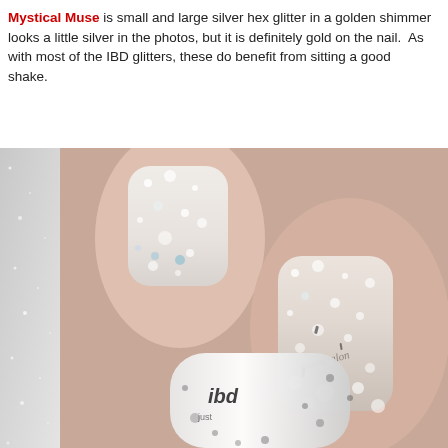Mystical Muse is small and large silver hex glitter in a golden shimmer looks a little silver in the photos, but it is definitely gold on the nail. As with most of the IBD glitters, these do benefit from sitting a good shake.
[Figure (photo): Close-up photo of fingers with glittery silver nail polish applied, showing two nails prominently with a white IBD nail polish bottle in the foreground. A watermark reads 'manictalon'.]